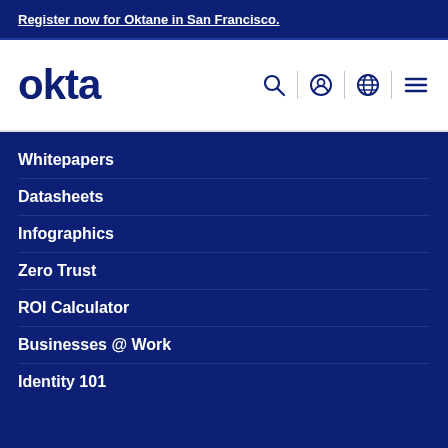Register now for Oktane in San Francisco.
[Figure (logo): Okta logo with navigation icons: search, user account, globe/language, and hamburger menu]
Whitepapers
Datasheets
Infographics
Zero Trust
ROI Calculator
Businesses @ Work
Identity 101